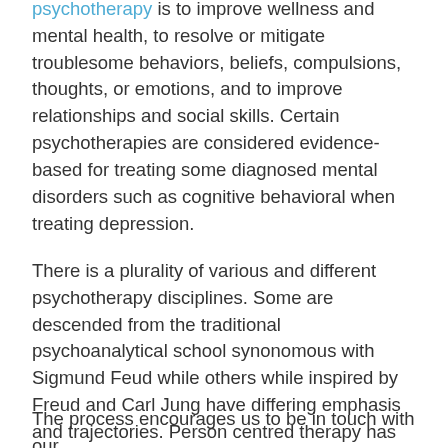psychotherapy is to improve wellness and mental health, to resolve or mitigate troublesome behaviors, beliefs, compulsions, thoughts, or emotions, and to improve relationships and social skills. Certain psychotherapies are considered evidence-based for treating some diagnosed mental disorders such as cognitive behavioral when treating depression.
There is a plurality of various and different psychotherapy disciplines. Some are descended from the traditional psychoanalytical school synonomous with Sigmund Feud while others while inspired by Freud and Carl Jung have differing emphasis and trajectories. Person centred therapy has an appeal which has found a home in all psychotherapeutic practice and delivery. Most involve one-to-one sessions between the client and therapist but also with couples, families and groups.
The process encourages us to be in touch with our